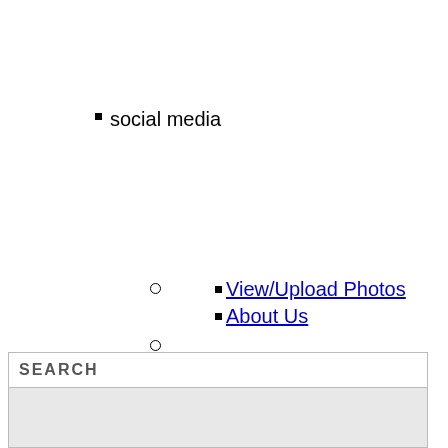social media
View/Upload Photos
About Us